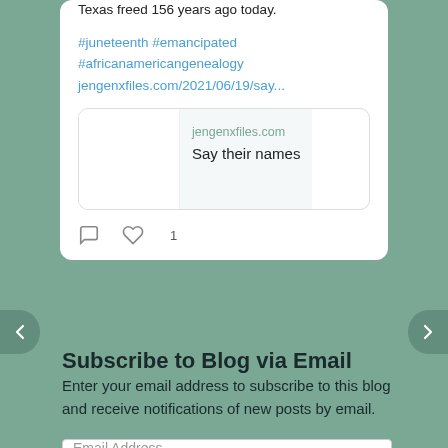Texas freed 156 years ago today.
#juneteenth #emancipated #africanamericangenealogy jengenxfiles.com/2021/06/19/say...
[Figure (screenshot): Link preview card showing jengenxfiles.com domain and title 'Say their names']
Like and heart action icons with count 1
Subscribe to Blog via Email
Enter your email address to subscribe to this blog and receive notifications of new posts by email.
Email Address